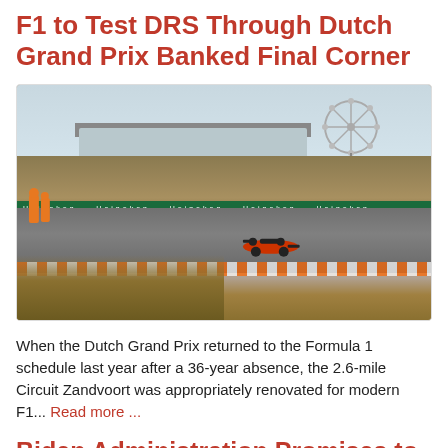F1 to Test DRS Through Dutch Grand Prix Banked Final Corner
[Figure (photo): Formula 1 race car on the banked circuit at Zandvoort during the Dutch Grand Prix, with marshals in orange suits watching trackside, Heineken advertising boards visible, sand dunes, grandstands and a ferris wheel in the background]
When the Dutch Grand Prix returned to the Formula 1 schedule last year after a 36-year absence, the 2.6-mile Circuit Zandvoort was appropriately renovated for modern F1... Read more ...
Biden Administration Promises to Review New EV Credit Impact on South Korea